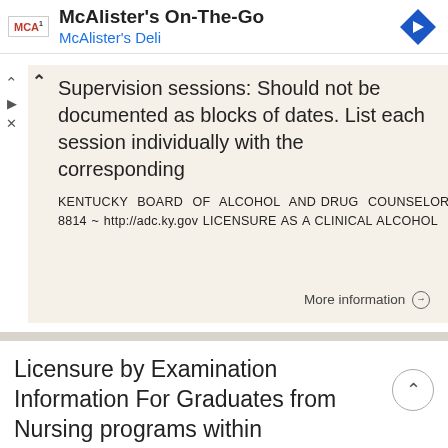[Figure (screenshot): McAlister's On-The-Go advertisement banner with McAlister's Deli logo, brand name text, and navigation arrow icon]
Supervision sessions: Should not be documented as blocks of dates. List each session individually with the corresponding
KENTUCKY BOARD OF ALCOHOL AND DRUG COUNSELORS P.O. Box 1360, Frankfort, Kentucky 40602 ~ 911 Leawood Drive, Frankfort, Kentucky 40601 Phone (502) 782-8814 ~ http://adc.ky.gov LICENSURE AS A CLINICAL ALCOHOL
More information →
Licensure by Examination Information For Graduates from Nursing programs within